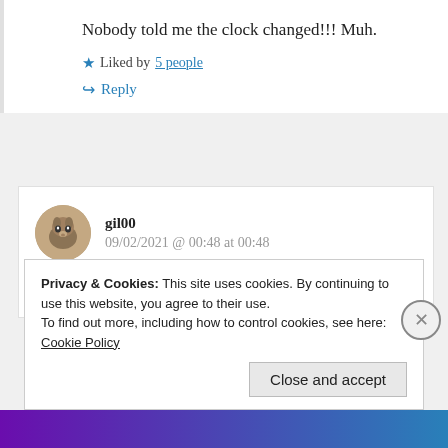Nobody told me the clock changed!!! Muh.
★ Liked by 5 people
↪ Reply
gil00
09/02/2021 @ 00:48 at 00:48
I heart that twit on top DP, esp since we are
Privacy & Cookies: This site uses cookies. By continuing to use this website, you agree to their use. To find out more, including how to control cookies, see here: Cookie Policy
Close and accept